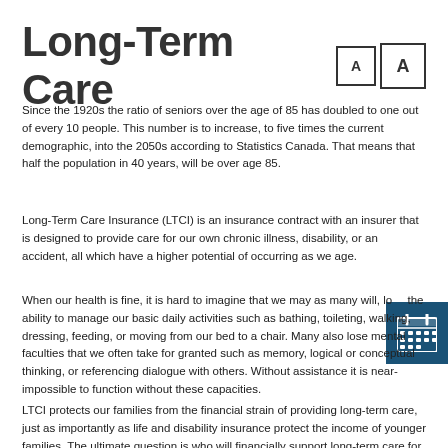Long-Term Care
Since the 1920s the ratio of seniors over the age of 85 has doubled to one out of every 10 people. This number is to increase, to five times the current demographic, into the 2050s according to Statistics Canada. That means that half the population in 40 years, will be over age 85.
Long-Term Care Insurance (LTCI) is an insurance contract with an insurer that is designed to provide care for our own chronic illness, disability, or an accident, all which have a higher potential of occurring as we age.
When our health is fine, it is hard to imagine that we may as many will, lose the ability to manage our basic daily activities such as bathing, toileting, walking, dressing, feeding, or moving from our bed to a chair. Many also lose mental faculties that we often take for granted such as memory, logical or conceptual thinking, or referencing dialogue with others. Without assistance it is near-impossible to function without these capacities.
LTCI protects our families from the financial strain of providing long-term care, just as importantly as life and disability insurance protect the income of younger families. The ultimate question is who will financially support long-term care for you? LTCI is not just for seniors but for those who become